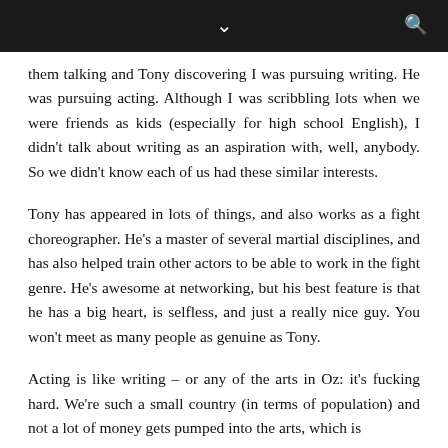↓ [search icon]
them talking and Tony discovering I was pursuing writing. He was pursuing acting. Although I was scribbling lots when we were friends as kids (especially for high school English), I didn't talk about writing as an aspiration with, well, anybody. So we didn't know each of us had these similar interests.
Tony has appeared in lots of things, and also works as a fight choreographer. He's a master of several martial disciplines, and has also helped train other actors to be able to work in the fight genre. He's awesome at networking, but his best feature is that he has a big heart, is selfless, and just a really nice guy. You won't meet as many people as genuine as Tony.
Acting is like writing – or any of the arts in Oz: it's fucking hard. We're such a small country (in terms of population) and not a lot of money gets pumped into the arts, which is